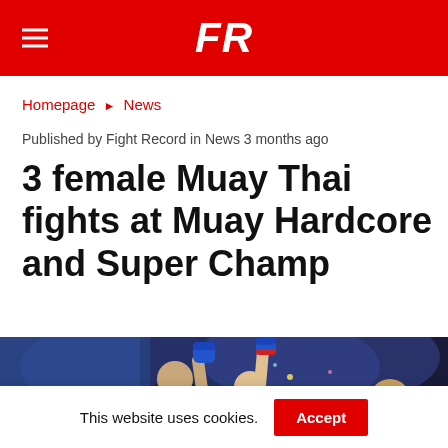FR
Homepage ► News
Published by Fight Record in News 3 months ago
3 female Muay Thai fights at Muay Hardcore and Super Champ
[Figure (photo): A Muay Thai fighter with arms raised in victory, wearing blue gloves, with a referee or cornerman beside them in a blue-lit arena setting.]
This website uses cookies. Accept